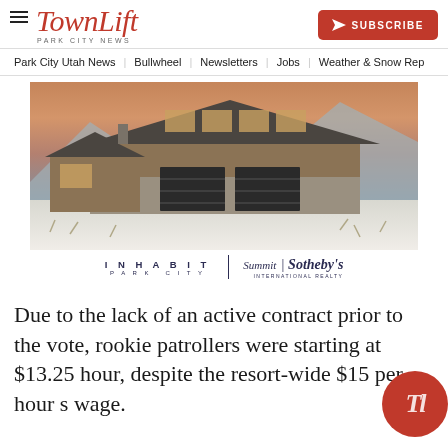TownLift — Park City News | SUBSCRIBE
Park City Utah News | Bullwheel | Newsletters | Jobs | Weather & Snow Rep
[Figure (photo): Advertisement photo of a luxury mountain home with stone and wood facade, double garage doors, snowy landscape, branded with INHABIT PARK CITY and Summit Sotheby's International Realty logos]
Due to the lack of an active contract prior to the vote, rookie patrollers were starting at $13.25 hour, despite the resort-wide $15 per hour starting wage.